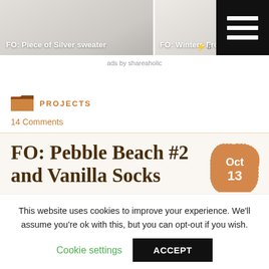[Figure (photo): Two side-by-side blog post thumbnails: left shows 'FO: Piece of Silver sweater', right shows 'FO: Winters Frost S...' with a hamburger menu icon overlaid on the right side]
ads by shareaholic
[Figure (illustration): Folder icon in brown/orange color]
PROJECTS
14 Comments
FO: Pebble Beach #2 and Vanilla Socks
This website uses cookies to improve your experience. We'll assume you're ok with this, but you can opt-out if you wish.
Cookie settings
ACCEPT